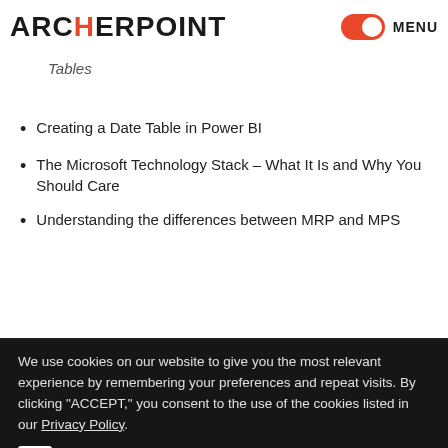ARCHERPOINT  MENU
Tables
Creating a Date Table in Power BI
The Microsoft Technology Stack – What It Is and Why You Should Care
Understanding the differences between MRP and MPS
STAY INFORMED
We use cookies on our website to give you the most relevant experience by remembering your preferences and repeat visits. By clicking "ACCEPT," you consent to the use of the cookies listed in our Privacy Policy.
Do not sell my personal information
No, Thanks
ACCEPT